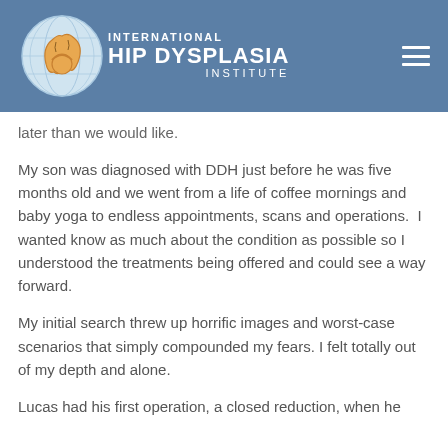International Hip Dysplasia Institute
later than we would like.
My son was diagnosed with DDH just before he was five months old and we went from a life of coffee mornings and baby yoga to endless appointments, scans and operations.  I wanted know as much about the condition as possible so I understood the treatments being offered and could see a way forward.
My initial search threw up horrific images and worst-case scenarios that simply compounded my fears. I felt totally out of my depth and alone.
Lucas had his first operation, a closed reduction, when he